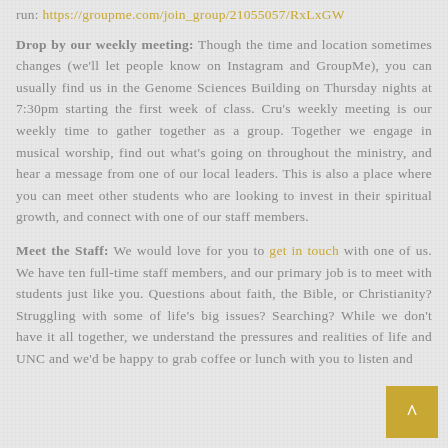run: https://groupme.com/join_group/21055057/RxLxGW Drop by our weekly meeting: Though the time and location sometimes changes (we'll let people know on Instagram and GroupMe), you can usually find us in the Genome Sciences Building on Thursday nights at 7:30pm starting the first week of class. Cru's weekly meeting is our weekly time to gather together as a group. Together we engage in musical worship, find out what's going on throughout the ministry, and hear a message from one of our local leaders. This is also a place where you can meet other students who are looking to invest in their spiritual growth, and connect with one of our staff members.
Meet the Staff: We would love for you to get in touch with one of us. We have ten full-time staff members, and our primary job is to meet with students just like you. Questions about faith, the Bible, or Christianity? Struggling with some of life's big issues? Searching? While we don't have it all together, we understand the pressures and realities of life and UNC and we'd be happy to grab coffee or lunch with you to listen and